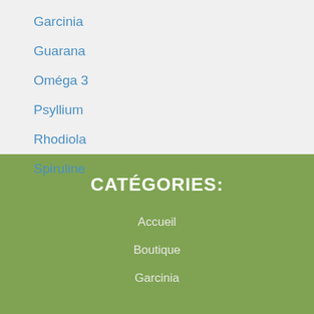Garcinia
Guarana
Oméga 3
Psyllium
Rhodiola
Spiruline
CATÉGORIES:
Accueil
Boutique
Garcinia